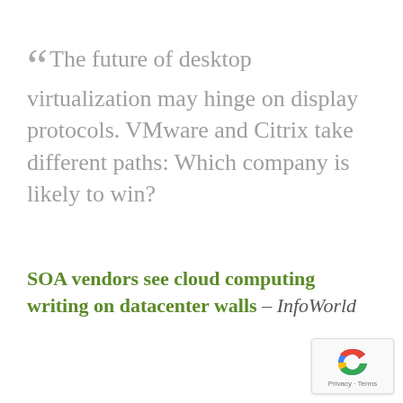“ The future of desktop virtualization may hinge on display protocols. VMware and Citrix take different paths: Which company is likely to win?
SOA vendors see cloud computing writing on datacenter walls – InfoWorld